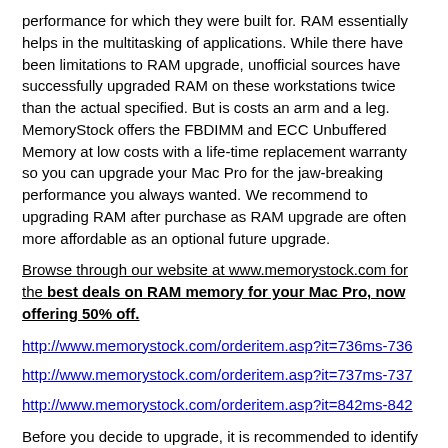performance for which they were built for. RAM essentially helps in the multitasking of applications. While there have been limitations to RAM upgrade, unofficial sources have successfully upgraded RAM on these workstations twice than the actual specified. But is costs an arm and a leg. MemoryStock offers the FBDIMM and ECC Unbuffered Memory at low costs with a life-time replacement warranty so you can upgrade your Mac Pro for the jaw-breaking performance you always wanted. We recommend to upgrading RAM after purchase as RAM upgrade are often more affordable as an optional future upgrade.
Browse through our website at www.memorystock.com for the best deals on RAM memory for your Mac Pro, now offering 50% off.
http://www.memorystock.com/orderitem.asp?it=736ms-736
http://www.memorystock.com/orderitem.asp?it=737ms-737
http://www.memorystock.com/orderitem.asp?it=842ms-842
Before you decide to upgrade, it is recommended to identify your Mac Pro variant and the instructions on how to remove/replace RAM on a Mac Pro. The easiest upgrade on these workstations are the RAM memory.
Free Technical Support is just a click away exclusive on our MemoryStock